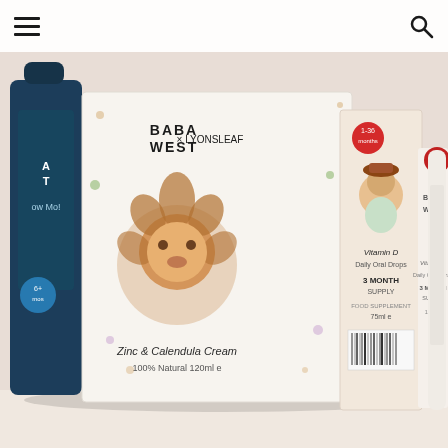☰ [hamburger menu] 🔍 [search icon]
[Figure (photo): Product photo showing Baba West children's health products including Zinc & Calendula Cream 120ml, Vitamin D Daily Oral Drops 75ml 3 month supply, Vitamin D Daily Oral Spray 3 month supply 15ml, and other Baba West supplement bottles arranged on a white surface. Branded packaging features illustrated animal characters.]
Baba West Product Review & GIVEAWAY | Ad
LATEST TWEETS
Hayley @Devon_Mama
Struggling to fill the summer holidays? We share some